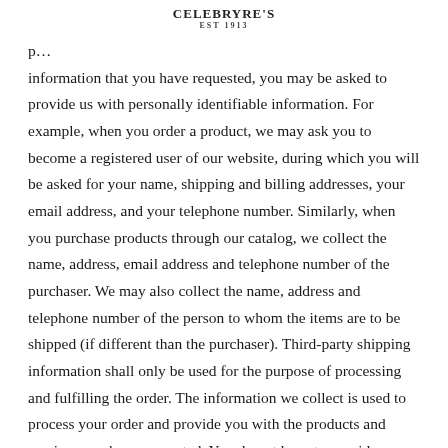CELEBRYRE'S EST 1913
provide you with the information that you have requested, you may be asked to provide us with personally identifiable information. For example, when you order a product, we may ask you to become a registered user of our website, during which you will be asked for your name, shipping and billing addresses, your email address, and your telephone number. Similarly, when you purchase products through our catalog, we collect the name, address, email address and telephone number of the purchaser. We may also collect the name, address and telephone number of the person to whom the items are to be shipped (if different than the purchaser). Third-party shipping information shall only be used for the purpose of processing and fulfilling the order. The information we collect is used to process your order and provide you with the products and services you have requested. You do not have to provide us with any personally identifiable information, but